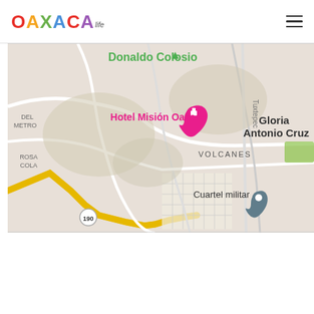[Figure (logo): Oaxaca Life logo with colorful letters and hamburger menu icon]
[Figure (map): Google Maps screenshot showing area around Hotel Misión Oaxaca in Oaxaca, Mexico. Visible labels include: Donaldo Colosio, Hotel Misión Oaxaca (with pink pin), Gloria Antonio Cruz, VOLCANES, Cuartel militar (with blue pin), route 190, DEL METRO, ROSA COLA areas, and Tuxtepec road.]